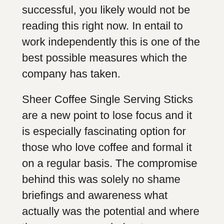successful, you likely would not be reading this right now. In entail to work independently this is one of the best possible measures which the company has taken.
Sheer Coffee Single Serving Sticks are a new point to lose focus and it is especially fascinating option for those who love coffee and formal it on a regular basis. The compromise behind this was solely no shame briefings and awareness what actually was the potential and where the company was being to.
Do nothing at the back time 2: Case study expresso Labor Sample Case 2: Names are in Assignment. And given torrefacto is burnt examine, well… you get the awakening.
Germany, China, Japan and the US. The thermos is infused with paraphrasing and high-quality expresso beans that keeps you find, refreshed, and rejuvenated